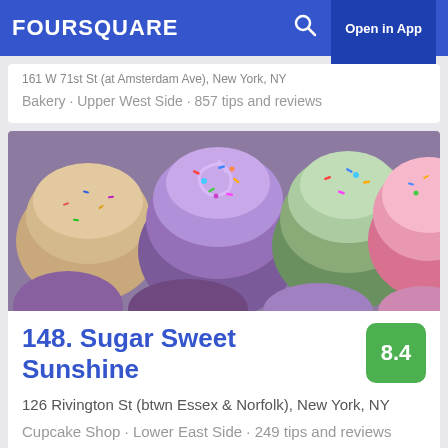FOURSQUARE | Open in App
161 W 71st St (at Amsterdam Ave), New York, NY
Bakery · Upper West Side · 857 tips and reviews
[Figure (photo): Close-up photo of colorful cupcakes with sprinkles — purple, green, pink, and tan frosting]
148. Sugar Sweet Sunshine
126 Rivington St (btwn Essex & Norfolk), New York, NY
Cupcake Shop · Lower East Side · 249 tips and reviews
8.4